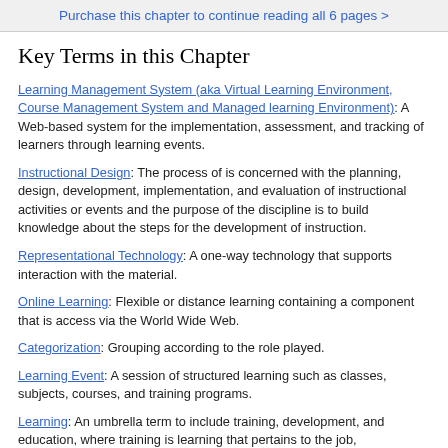Purchase this chapter to continue reading all 6 pages >
Key Terms in this Chapter
Learning Management System (aka Virtual Learning Environment, Course Management System and Managed learning Environment): A Web-based system for the implementation, assessment, and tracking of learners through learning events.
Instructional Design: The process of is concerned with the planning, design, development, implementation, and evaluation of instructional activities or events and the purpose of the discipline is to build knowledge about the steps for the development of instruction.
Representational Technology: A one-way technology that supports interaction with the material.
Online Learning: Flexible or distance learning containing a component that is access via the World Wide Web.
Categorization: Grouping according to the role played.
Learning Event: A session of structured learning such as classes, subjects, courses, and training programs.
Learning: An umbrella term to include training, development, and education, where training is learning that pertains to the job, development is learning for the growth of the individual that is not related to a specific job, and education